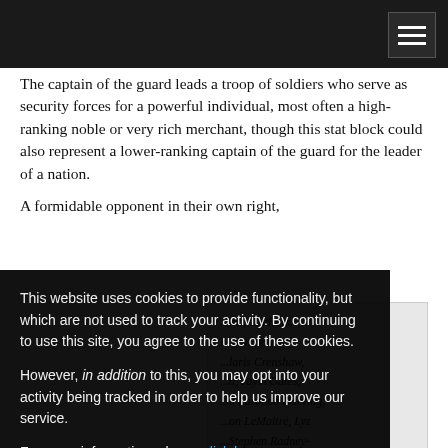Navigation bar with hamburger menu icon
About
The captain of the guard leads a troop of soldiers who serve as security forces for a powerful individual, most often a high-ranking noble or very rich merchant, though this stat block could also represent a lower-ranking captain of the guard for the leader of a nation.
A formidable opponent in their own right, the captain of the ...tect the life and ...
...nc.; Authors: Logan Bonner, ...laris Crenshaw, ...n, Jaym Gates, ...a Laranoa Harving, ...on LeMaitre, Lyz ...Stephen Radney-
This website uses cookies to provide functionality, but which are not used to track your activity. By continuing to use this site, you agree to the use of these cookies.

However, in addition to this, you may opt into your activity being tracked in order to help us improve our service.

For more information, please click here